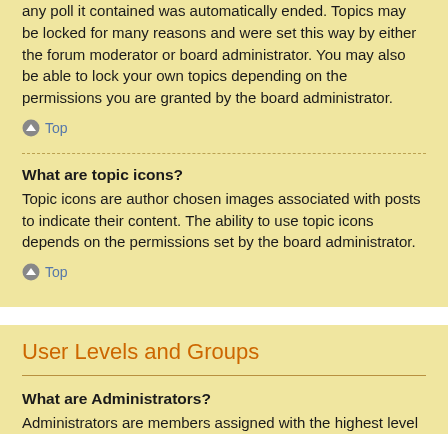any poll it contained was automatically ended. Topics may be locked for many reasons and were set this way by either the forum moderator or board administrator. You may also be able to lock your own topics depending on the permissions you are granted by the board administrator.
Top
What are topic icons?
Topic icons are author chosen images associated with posts to indicate their content. The ability to use topic icons depends on the permissions set by the board administrator.
Top
User Levels and Groups
What are Administrators?
Administrators are members assigned with the highest level